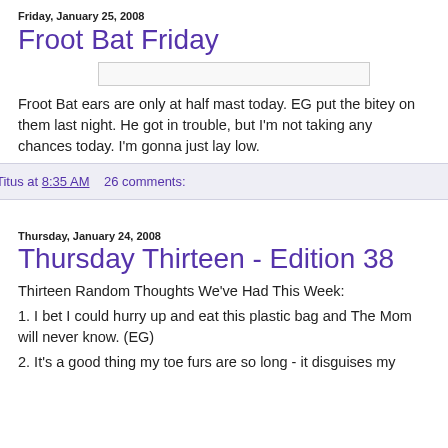Friday, January 25, 2008
Froot Bat Friday
[Figure (photo): A rectangular image placeholder (photo of Froot Bat)]
Froot Bat ears are only at half mast today. EG put the bitey on them last night. He got in trouble, but I'm not taking any chances today. I'm gonna just lay low.
Titus at 8:35 AM    26 comments:
Thursday, January 24, 2008
Thursday Thirteen - Edition 38
Thirteen Random Thoughts We've Had This Week:
1. I bet I could hurry up and eat this plastic bag and The Mom will never know. (EG)
2. It's a good thing my toe furs are so long - it disguises my